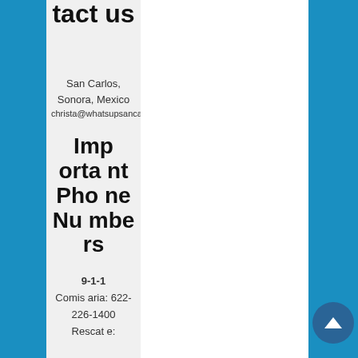tact us
San Carlos, Sonora, Mexico
christa@whatsupsancarlos.com
Important Phone Numbers
9-1-1
Comisaria: 622-226-1400
Rescate: